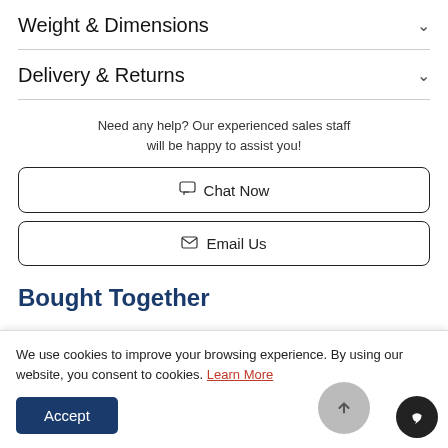Weight & Dimensions
Delivery & Returns
Need any help? Our experienced sales staff will be happy to assist you!
Chat Now
Email Us
Bought Together
We use cookies to improve your browsing experience. By using our website, you consent to cookies. Learn More
Accept